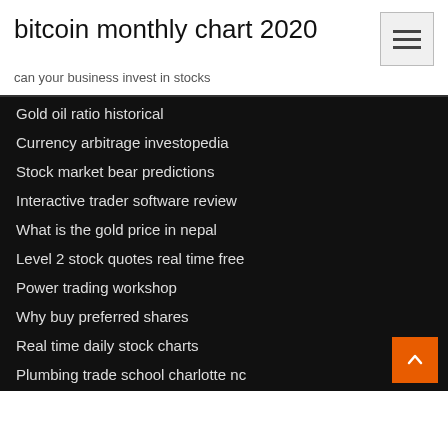bitcoin monthly chart 2020
can your business invest in stocks
Gold oil ratio historical
Currency arbitrage investopedia
Stock market bear predictions
Interactive trader software review
What is the gold price in nepal
Level 2 stock quotes real time free
Power trading workshop
Why buy preferred shares
Real time daily stock charts
Plumbing trade school charlotte nc